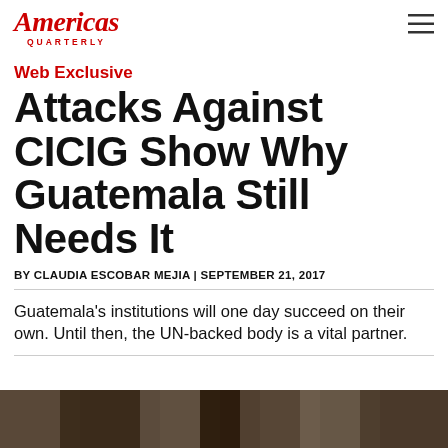Americas Quarterly
Web Exclusive
Attacks Against CICIG Show Why Guatemala Still Needs It
BY CLAUDIA ESCOBAR MEJIA | SEPTEMBER 21, 2017
Guatemala's institutions will one day succeed on their own. Until then, the UN-backed body is a vital partner.
[Figure (photo): Photograph strip at the bottom of the page, partially visible, showing people in a dark setting]